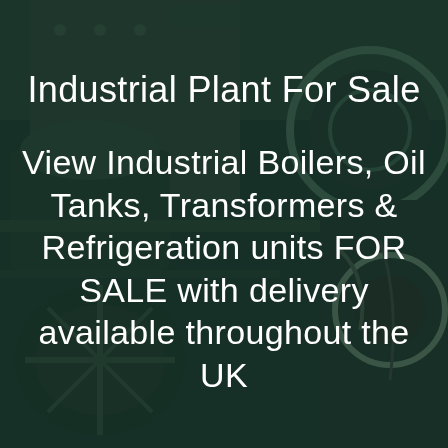[Figure (photo): Dark-toned industrial machinery background showing large motors, turbines, boilers and mechanical equipment with a dark green/teal overlay tint]
Industrial Plant For Sale
View Industrial Boilers, Oil Tanks, Transformers & Refrigeration units FOR SALE with delivery available throughout the UK